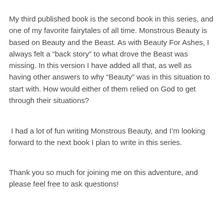My third published book is the second book in this series, and one of my favorite fairytales of all time. Monstrous Beauty is based on Beauty and the Beast. As with Beauty For Ashes, I always felt a “back story” to what drove the Beast was missing. In this version I have added all that, as well as having other answers to why “Beauty” was in this situation to start with. How would either of them relied on God to get through their situations?
I had a lot of fun writing Monstrous Beauty, and I’m looking forward to the next book I plan to write in this series.
Thank you so much for joining me on this adventure, and please feel free to ask questions!